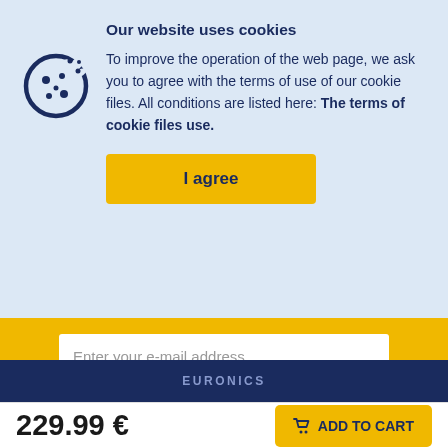Our website uses cookies
To improve the operation of the web page, we ask you to agree with the terms of use of our cookie files. All conditions are listed here: The terms of cookie files use.
I agree
Enter your e-mail address
Subscribe
You must accept cookies to use this functionality
EURONICS
229.99 €
ADD TO CART